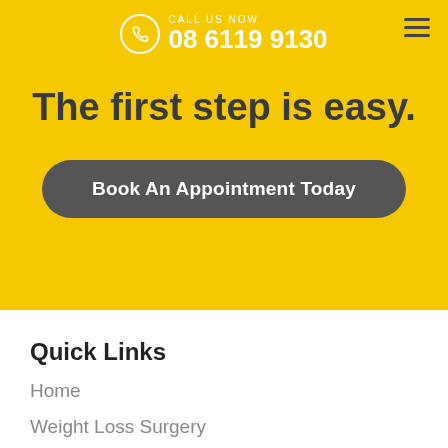CALL US NOW 08 6119 9130
The first step is easy.
Book An Appointment Today
Quick Links
Home
Weight Loss Surgery